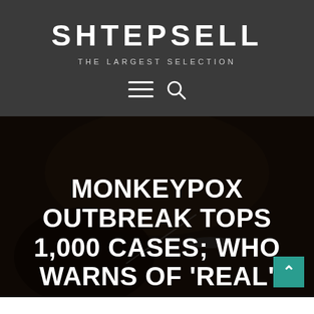SHTEPSELL
THE LARGEST SELECTION
[Figure (screenshot): Navigation icons: hamburger menu and search icon]
[Figure (photo): Dark background photo of a person writing or working, with a large white bold headline overlay reading: MONKEYPOX OUTBREAK TOPS 1,000 CASES; WHO WARNS OF 'REAL']
MONKEYPOX OUTBREAK TOPS 1,000 CASES; WHO WARNS OF 'REAL'